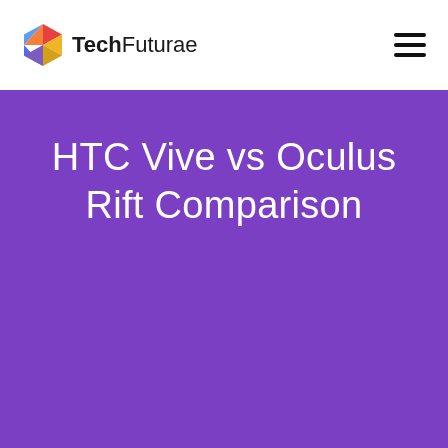TechFuturae
HTC Vive vs Oculus Rift Comparison